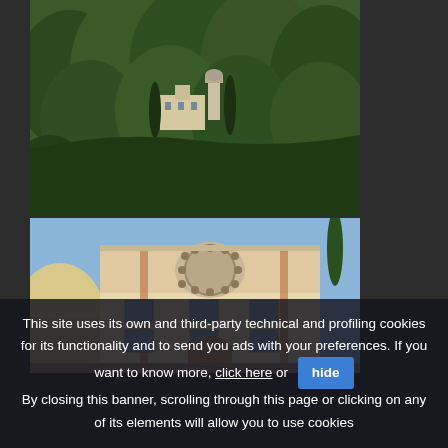[Figure (photo): Aerial or distant view of a hillside monastery or villa complex surrounded by dense green forest/trees]
[Figure (photo): Close-up facade of an ornate Italian-style building or church with decorative fresco panels, arched entrance, and cypress trees]
This site uses its own and third-party technical and profiling cookies for its functionality and to send you ads with your preferences. If you want to know more, click here or hide By closing this banner, scrolling through this page or clicking on any of its elements will allow you to use cookies